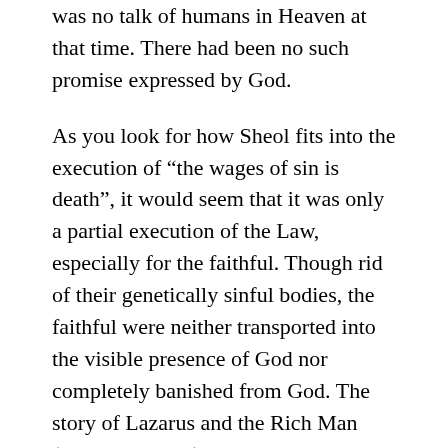was no talk of humans in Heaven at that time. There had been no such promise expressed by God.
As you look for how Sheol fits into the execution of “the wages of sin is death”, it would seem that it was only a partial execution of the Law, especially for the faithful. Though rid of their genetically sinful bodies, the faithful were neither transported into the visible presence of God nor completely banished from God. The story of Lazarus and the Rich Man (Luke 16:19–31) gives the most comprehensive description of what Hades was like. In it, Lazarus is comforted in the “bosom of Abraham”, while the rich man suffers in hellish conditions. The two can communicate